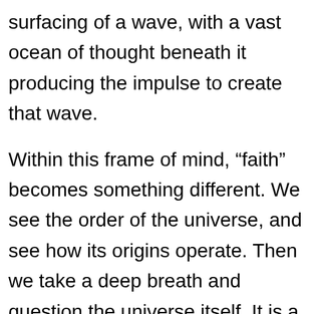surfacing of a wave, with a vast ocean of thought beneath it producing the impulse to create that wave.
Within this frame of mind, “faith” becomes something different. We see the order of the universe, and see how its origins operate. Then we take a deep breath and question the universe itself. It is a good universe; after all, from no obligation to create anything, it flowered life. This brings us a new kind of faith: the faith that the cosmos ultimately tends toward good.